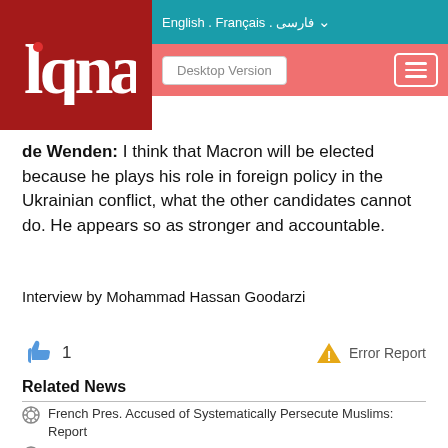English . Français . فارسی
[Figure (logo): IQNA logo — white stylized Arabic/Persian text on dark red background]
de Wenden: I think that Macron will be elected because he plays his role in foreign policy in the Ukrainian conflict, what the other candidates cannot do. He appears so as stronger and accountable.
Interview by Mohammad Hassan Goodarzi
1   Error Report
Related News
French Pres. Accused of Systematically Persecute Muslims: Report
Algeria Slams Racial Abuse of Muslim Footballer in France
French Minister Supports Muslim Female Athletes in Face of Hijab